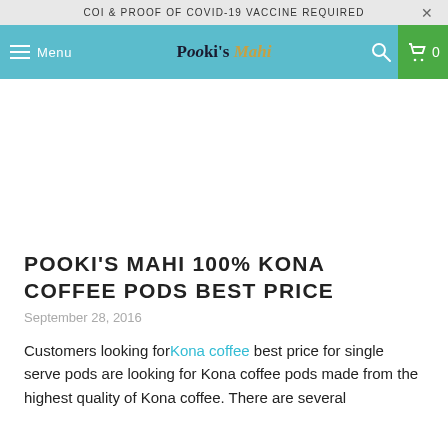COI & PROOF OF COVID-19 VACCINE REQUIRED
[Figure (screenshot): Navigation bar with hamburger menu icon and 'Menu' label on left, 'Pooki's Mahi' logo in center on teal background, search icon and green cart icon with '0' on right]
POOKI'S MAHI 100% KONA COFFEE PODS BEST PRICE
September 28, 2016
Customers looking for Kona coffee best price for single serve pods are looking for Kona coffee pods made from the highest quality of Kona coffee.  There are several